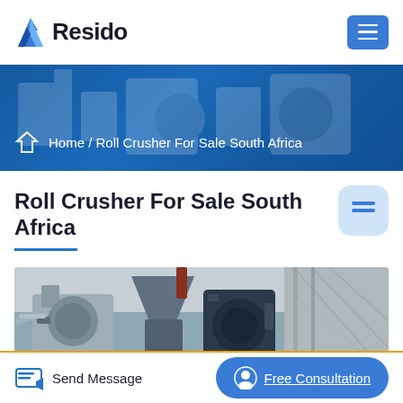Resido
Home / Roll Crusher For Sale South Africa
Roll Crusher For Sale South Africa
[Figure (photo): Industrial roll crusher machines photographed outdoors, showing heavy grey and dark blue metal equipment with pipes and mechanical components.]
Send Message
Free Consultation